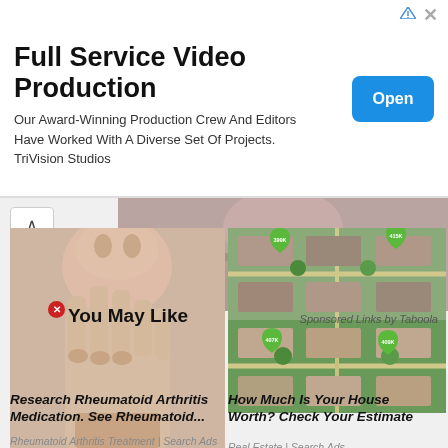[Figure (screenshot): Advertisement banner for Full Service Video Production by TriVision Studios with an Open button]
Full Service Video Production
Our Award-Winning Production Crew And Editors Have Worked With A Diverse Set Of Projects. TriVision Studios
[Figure (screenshot): Taboola sponsored content section with 'You May Like' heading and two ad cards: one for Rheumatoid Arthritis Medication and one for Real Estate house valuation]
You May Like
Sponsored Links by Taboola
[Figure (photo): Woman in bikini top with bracelets]
[Figure (photo): Elderly woman showing arthritic hand]
Research Rheumatoid Arthritis Medication. See Rheumatoid...
Rheumatoid Arthritis Treatment | Search Ads
[Figure (photo): Aerial view of residential neighborhood with green price map pins showing 399K, 415K, 407K, 409K]
How Much Is Your House Worth? Check Your Estimate
Real Estate | Search Ads